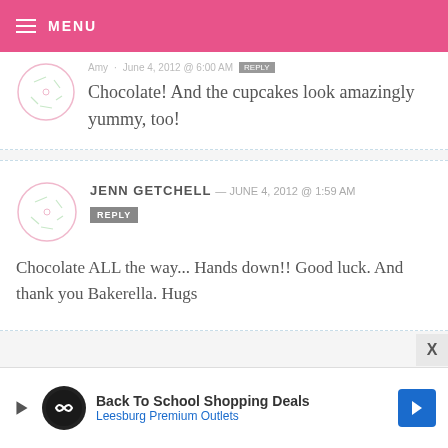MENU
Chocolate! And the cupcakes look amazingly yummy, too!
JENN GETCHELL — JUNE 4, 2012 @ 1:59 AM
Chocolate ALL the way... Hands down!! Good luck. And thank you Bakerella. Hugs
[Figure (infographic): Advertisement banner: Back To School Shopping Deals, Leesburg Premium Outlets]